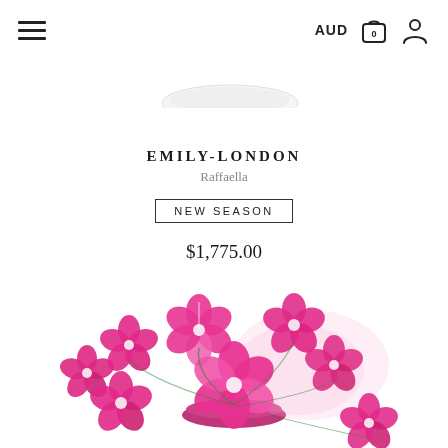AUD [cart icon] [user icon]
[Figure (photo): Partial view of a white hat brim from above, cropped at top of page]
EMILY-LONDON
Raffaella
NEW SEASON
$1,775.00
[Figure (photo): Pink floral hat (Raffaella by Emily-London) with bright pink morning glory flowers arranged on a pink hat base with tulle netting, photographed on white background]